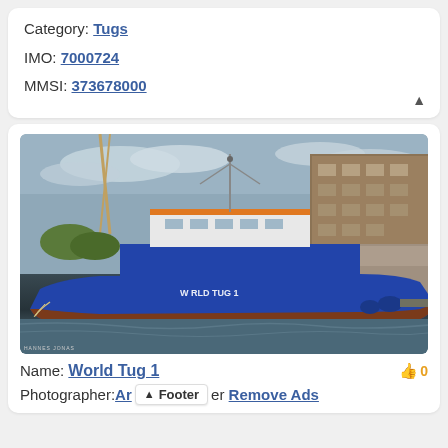Category: Tugs
IMO: 7000724
MMSI: 373678000
[Figure (photo): A blue tugboat named 'World Tug 1' moored at a dock, with a large modern building and crane visible in the background. The boat has white and orange superstructure.]
Name: World Tug 1
Photographer: Arnold Pehe  Remove Ads